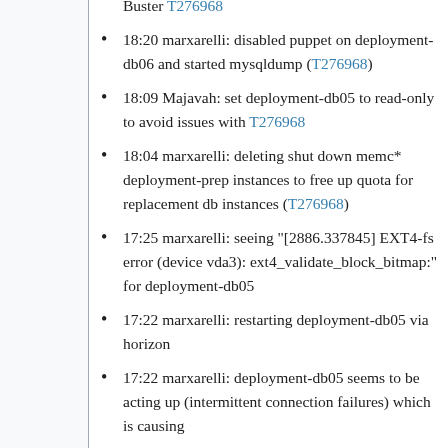Buster T276968
18:20 marxarelli: disabled puppet on deployment-db06 and started mysqldump (T276968)
18:09 Majavah: set deployment-db05 to read-only to avoid issues with T276968
18:04 marxarelli: deleting shut down memc* deployment-prep instances to free up quota for replacement db instances (T276968)
17:25 marxarelli: seeing "[2886.337845] EXT4-fs error (device vda3): ext4_validate_block_bitmap:" for deployment-db05
17:22 marxarelli: restarting deployment-db05 via horizon
17:22 marxarelli: deployment-db05 seems to be acting up (intermittent connection failures) which is causing